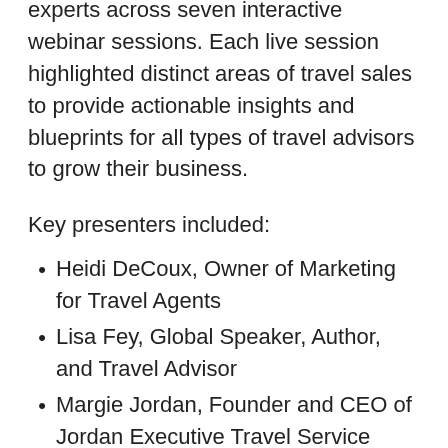This three-day workshop featured industry experts across seven interactive webinar sessions. Each live session highlighted distinct areas of travel sales to provide actionable insights and blueprints for all types of travel advisors to grow their business.
Key presenters included:
Heidi DeCoux, Owner of Marketing for Travel Agents
Lisa Fey, Global Speaker, Author, and Travel Advisor
Margie Jordan, Founder and CEO of Jordan Executive Travel Service
Tammy Levent, CEO and Founder of Travel Agent Success Kit (TASK)
Dave Pope, Head of Franchise Development,